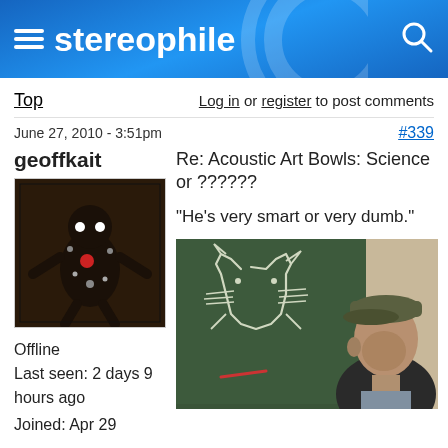stereophile
Top   Log in or register to post comments
June 27, 2010 - 3:51pm    #339
geoffkait
[Figure (photo): User avatar showing a voodoo doll figure made of dark materials with decorative elements]
Offline
Last seen: 2 days 9 hours ago
Joined: Apr 29
Re: Acoustic Art Bowls: Science or ??????
"He's very smart or very dumb."
[Figure (photo): Photo of a man in a baseball cap looking upward, standing in front of a chalkboard with a cat drawing]